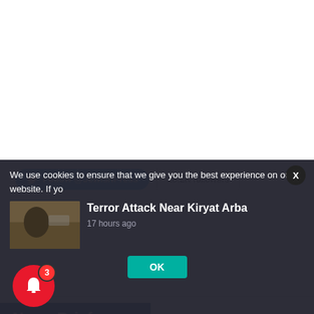[Figure (screenshot): Twitter Follow button for @JewishPress with 18.2K followers badge]
[Figure (screenshot): Cookie consent overlay with notification card for 'Terror Attack Near Kiryat Arba' article 17 hours ago, bell icon with badge 3, and OK button]